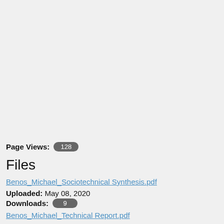Page Views: 128
Files
Benos_Michael_Sociotechnical Synthesis.pdf
Uploaded: May 08, 2020
Downloads: 9
Benos_Michael_Technical Report.pdf